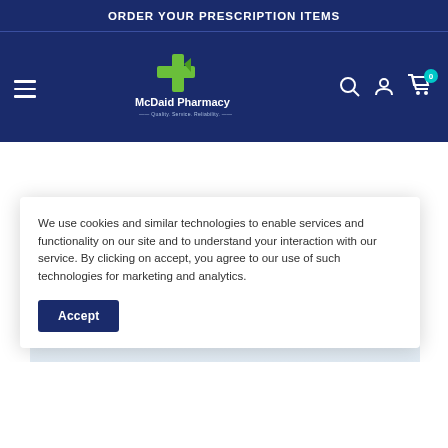ORDER YOUR PRESCRIPTION ITEMS
[Figure (logo): McDaid Pharmacy logo with green cross and tagline 'Quality. Service. Reliability.']
We use cookies and similar technologies to enable services and functionality on our site and to understand your interaction with our service. By clicking on accept, you agree to our use of such technologies for marketing and analytics.
Accept